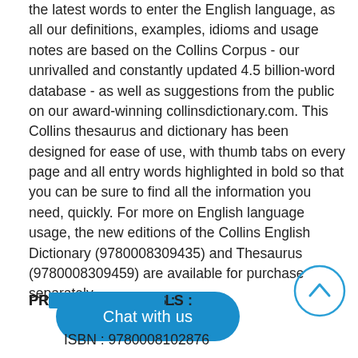the latest words to enter the English language, as all our definitions, examples, idioms and usage notes are based on the Collins Corpus - our unrivalled and constantly updated 4.5 billion-word database - as well as suggestions from the public on our award-winning collinsdictionary.com. This Collins thesaurus and dictionary has been designed for ease of use, with thumb tabs on every page and all entry words highlighted in bold so that you can be sure to find all the information you need, quickly. For more on English language usage, the new editions of the Collins English Dictionary (9780008309435) and Thesaurus (9780008309459) are available for purchase separately.
[Figure (other): Blue rounded rectangle chat button with text 'Chat with us']
[Figure (other): Circular scroll-to-top button with upward chevron arrow, blue outline]
PRODUCT DETAILS :
ISBN : 9780008102876